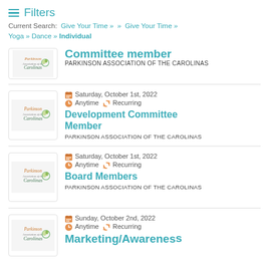≡ Filters
Current Search: Give Your Time » » Give Your Time » Yoga » Dance » Individual
Committee member
PARKINSON ASSOCIATION OF THE CAROLINAS
Saturday, October 1st, 2022  Anytime  Recurring
Development Committee Member
PARKINSON ASSOCIATION OF THE CAROLINAS
Saturday, October 1st, 2022  Anytime  Recurring
Board Members
PARKINSON ASSOCIATION OF THE CAROLINAS
Sunday, October 2nd, 2022  Anytime  Recurring
Marketing/Awareness